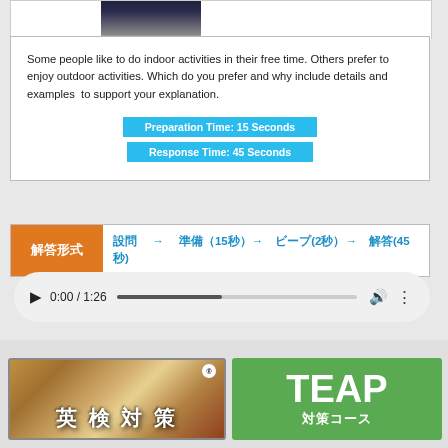[Figure (photo): Partial photo of a person in dark clothing, cropped at top]
Some people like to do indoor activities in their free time. Others prefer to enjoy outdoor activities. Which do you prefer and why include details and examples  to support your explanation.
Preparation Time: 15 Seconds
Response Time: 45 Seconds
解答形式　設問 → 準備（15秒）→ ビープ(2秒）→ 解答(45秒)
[Figure (screenshot): Audio player showing 0:00 / 1:26 with progress bar, volume and more icons]
[Figure (illustration): 英検対策 banner with books background]
[Figure (illustration): TEAP 対策コース green banner]